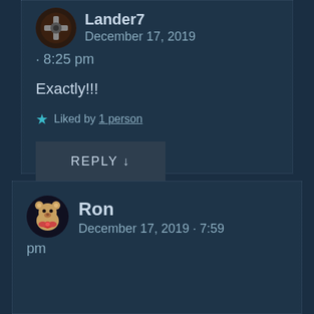[Figure (illustration): Avatar icon for user Lander7 — circular avatar with dark brown tones and a cross/game character image]
Lander7
December 17, 2019
· 8:25 pm
Exactly!!!
★ Liked by 1 person
REPLY ↓
[Figure (illustration): Avatar icon for user Ron — circular avatar with a bear/teddy plush character image]
Ron
December 17, 2019 · 7:59 pm